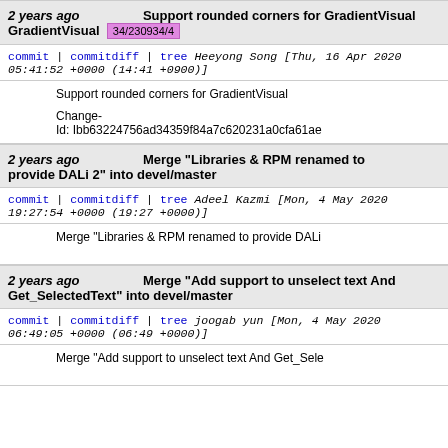2 years ago   Support rounded corners for GradientVisual   34/230934/4
commit | commitdiff | tree   Heeyong Song [Thu, 16 Apr 2020 05:41:52 +0000 (14:41 +0900)]
Support rounded corners for GradientVisual

Change-Id: Ibb63224756ad34359f84a7c620231a0cfa61ae
2 years ago   Merge "Libraries & RPM renamed to provide DALi 2" into devel/master
commit | commitdiff | tree   Adeel Kazmi [Mon, 4 May 2020 19:27:54 +0000 (19:27 +0000)]
Merge "Libraries & RPM renamed to provide DALi
2 years ago   Merge "Add support to unselect text And Get_SelectedText" into devel/master
commit | commitdiff | tree   joogab yun [Mon, 4 May 2020 06:49:05 +0000 (06:49 +0000)]
Merge "Add support to unselect text And Get_Sele